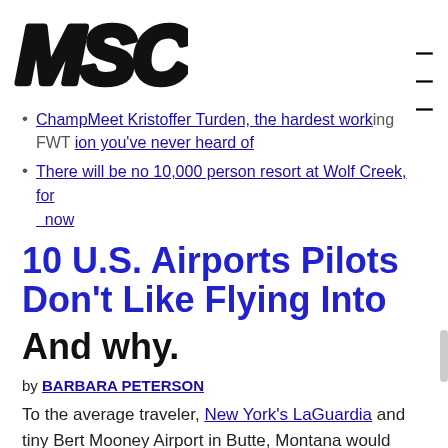MSC logo and navigation
ChampMeet Kristoffer Turden, the hardest working FWT ion you've never heard of
There will be no 10,000 person resort at Wolf Creek, for now
10 U.S. Airports Pilots Don't Like Flying Into And why.
by BARBARA PETERSON
To the average traveler, New York's LaGuardia and tiny Bert Mooney Airport in Butte, Montana would appear to have little in common. Yet according to data, they do: Both made the